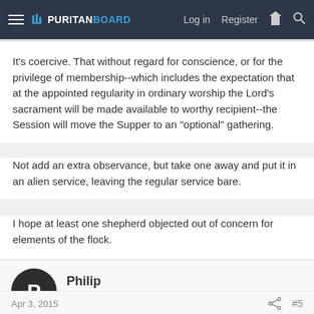PURITANBOARD — Log in  Register
It's coercive. That without regard for conscience, or for the privilege of membership--which includes the expectation that at the appointed regularity in ordinary worship the Lord's sacrament will be made available to worthy recipient--the Session will move the Supper to an "optional" gathering.
Not add an extra observance, but take one away and put it in an alien service, leaving the regular service bare.
I hope at least one shepherd objected out of concern for elements of the flock.
Philip
Puritan Board Graduate
Apr 3, 2015  #5